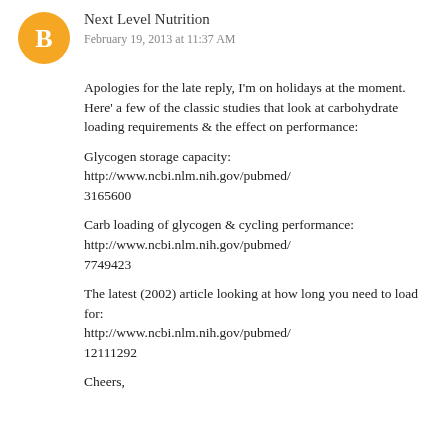[Figure (illustration): Orange circular Blogger avatar icon with white 'B' letter in center]
Next Level Nutrition
February 19, 2013 at 11:37 AM
Apologies for the late reply, I'm on holidays at the moment. Here' a few of the classic studies that look at carbohydrate loading requirements & the effect on performance:
Glycogen storage capacity: http://www.ncbi.nlm.nih.gov/pubmed/3165600
Carb loading of glycogen & cycling performance: http://www.ncbi.nlm.nih.gov/pubmed/7749423
The latest (2002) article looking at how long you need to load for: http://www.ncbi.nlm.nih.gov/pubmed/12111292
Cheers,